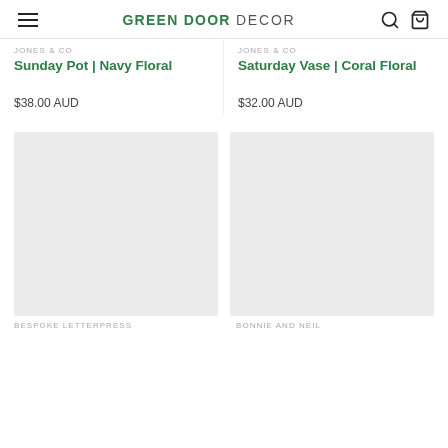GREEN DOOR DECOR
JONES & CO
Sunday Pot | Navy Floral
JONES & CO
Saturday Vase | Coral Floral
$38.00 AUD
$32.00 AUD
[Figure (photo): Product image placeholder - light grey rectangle]
[Figure (photo): Product image placeholder - light grey rectangle]
BESPOKE LETTERPRESS
BONNIE AND NEIL